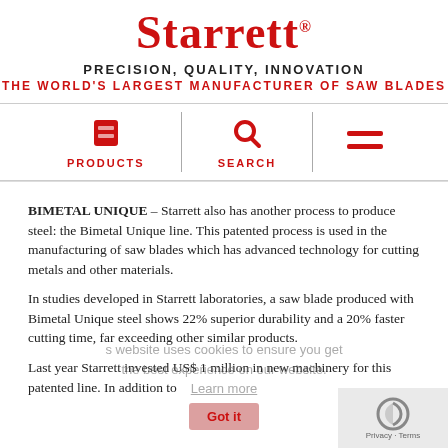[Figure (logo): Starrett logo in red cursive font with registered trademark symbol]
PRECISION, QUALITY, INNOVATION
THE WORLD'S LARGEST MANUFACTURER OF SAW BLADES
[Figure (infographic): Navigation bar with three items: PRODUCTS (box icon), SEARCH (magnifying glass icon), and hamburger menu icon, separated by vertical dividers]
BIMETAL UNIQUE – Starrett also has another process to produce steel: the Bimetal Unique line. This patented process is used in the manufacturing of saw blades which has advanced technology for cutting metals and other materials.
In studies developed in Starrett laboratories, a saw blade produced with Bimetal Unique steel shows 22% superior durability and a 20% faster cutting time, far exceeding other similar products.
Last year Starrett invested US$ 1 million in new machinery for this patented line. In addition to